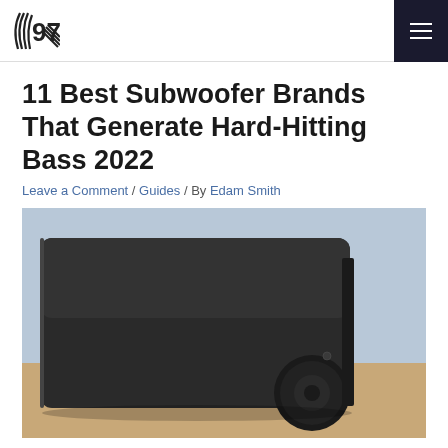97.com logo and navigation menu
11 Best Subwoofer Brands That Generate Hard-Hitting Bass 2022
Leave a Comment / Guides / By Edam Smith
[Figure (photo): Close-up photo of a black subwoofer speaker on a wooden surface with a light blue background]